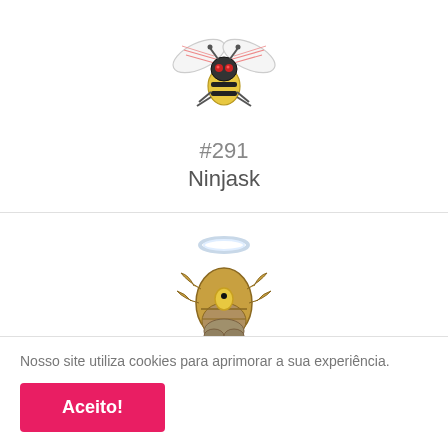[Figure (illustration): Ninjask Pokémon illustration - a bee-like bug/flying type Pokemon with red and white wings and a yellow and black body]
#291
Ninjask
[Figure (illustration): Shedinja Pokémon illustration - a bug/ghost type Pokemon resembling a shed cicada shell with a halo, golden brown body with claw-like appendages]
#292
Shedinja
Nosso site utiliza cookies para aprimorar a sua experiência.
Aceito!